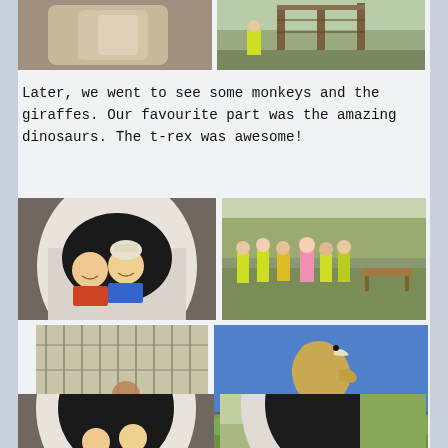[Figure (photo): Two photos at top: left shows a close-up of an animal (horse/giraffe), right shows a wooden adventure play structure with netting and a student in a high-vis vest]
Later, we went to see some monkeys and the giraffes. Our favourite part was the amazing dinosaurs. The t-rex was awesome!
[Figure (photo): Two children posing inside a large dinosaur egg prop, smiling]
[Figure (photo): Group of school children in hi-vis vests walking in a line at the zoo/park]
[Figure (photo): Animal in a wire cage enclosure, appears to be a monkey]
[Figure (photo): Large T-rex dinosaur statue with school children gathered around it in hi-vis vests]
[Figure (photo): Bottom left: partial view of dinosaur egg prop with children]
[Figure (photo): Bottom right: partial view of dinosaur egg prop outdoors]